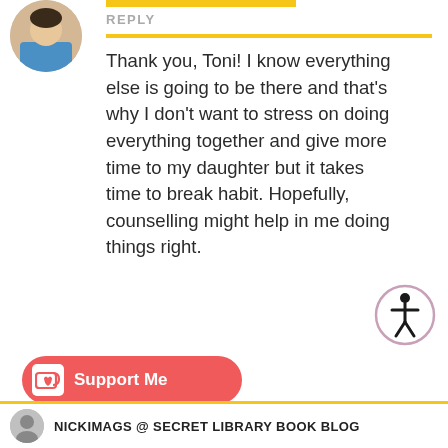[Figure (photo): Circular avatar photo of a person at top left]
REPLY
Thank you, Toni! I know everything else is going to be there and that's why I don't want to stress on doing everything together and give more time to my daughter but it takes time to break habit. Hopefully, counselling might help in me doing things right.
[Figure (illustration): Accessibility icon — circle with person figure inside]
Loading...
[Figure (illustration): Ko-fi Support Me button — pink rounded rectangle with coffee cup icon and text 'Support Me']
NICKIMAGS @ SECRET LIBRARY BOOK BLOG